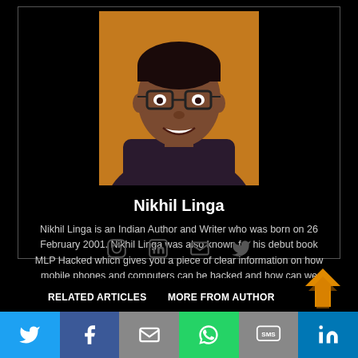[Figure (photo): Portrait photo of Nikhil Linga, a young Indian man wearing glasses and a dark shirt, smiling, with an orange/amber background.]
Nikhil Linga
Nikhil Linga is an Indian Author and Writer who was born on 26 February 2001. Nikhil Linga was also known for his debut book MLP Hacked which gives you a piece of clear information on how mobile phones and computers can be hacked and how can we secure them.
[Figure (other): Social media icons: Instagram, LinkedIn, Email/Envelope, Twitter]
RELATED ARTICLES    MORE FROM AUTHOR
[Figure (other): Bottom share bar with Twitter, Facebook, Email, WhatsApp, SMS, LinkedIn icons]